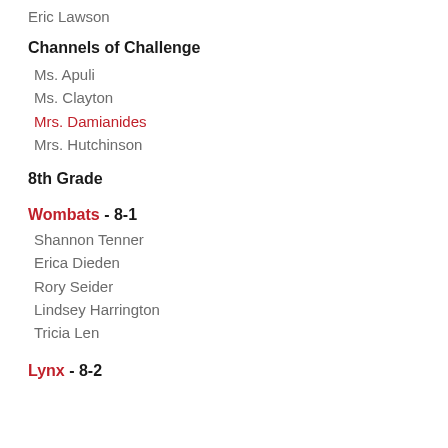Eric Lawson
Channels of Challenge
Ms. Apuli
Ms. Clayton
Mrs. Damianides
Mrs. Hutchinson
8th Grade
Wombats - 8-1
Shannon Tenner
Erica Dieden
Rory Seider
Lindsey Harrington
Tricia Len
Lynx - 8-2